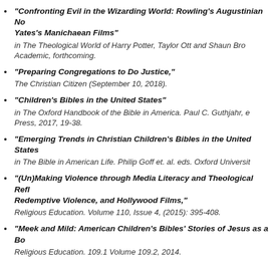"Confronting Evil in the Wizarding World: Rowling's Augustinian No... Yates's Manichaean Films"
in The Theological World of Harry Potter, Taylor Ott and Shaun Bro... Academic, forthcoming.
"Preparing Congregations to Do Justice,"
The Christian Citizen (September 10, 2018).
"Children's Bibles in the United States"
in The Oxford Handbook of the Bible in America. Paul C. Guthjahr, e... Press, 2017, 19-38.
"Emerging Trends in Christian Children's Bibles in the United State...
in The Bible in American Life. Philip Goff et. al. eds. Oxford Universit...
"(Un)Making Violence through Media Literacy and Theological Refl... Redemptive Violence, and Hollywood Films,"
Religious Education. Volume 110, Issue 4, (2015): 395-408.
"Meek and Mild: American Children's Bibles' Stories of Jesus as a Bo...
Religious Education. 109.1 Volume 109.2, 2014.